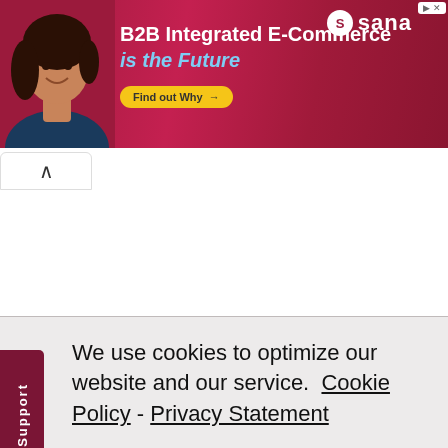[Figure (illustration): Advertisement banner for Sana Commerce. Shows a woman smiling, with text 'B2B Integrated E-Commerce is the Future' and a 'Find out Why' button, plus the Sana logo on a red/pink gradient background.]
We use cookies to optimize our website and our service.  Cookie Policy  -  Privacy Statement
Accept
Marketing permission: I give my consent to BHI to be in touch with me via email using the information I have provided in this form for the purpose of news,